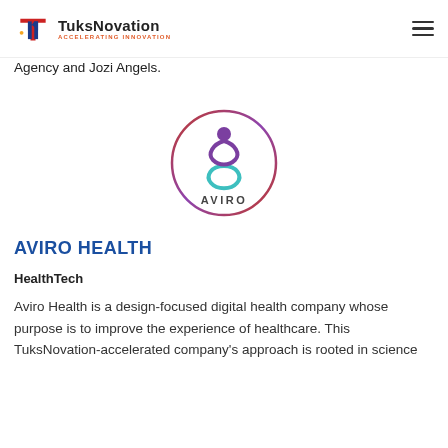TuksNovation ACCELERATING INNOVATION
Agency and Jozi Angels.
[Figure (logo): Aviro Health logo — circular border in red-purple gradient, stylized figure with teal infinity symbol, text AVIRO below]
AVIRO HEALTH
HealthTech
Aviro Health is a design-focused digital health company whose purpose is to improve the experience of healthcare. This TuksNovation-accelerated company's approach is rooted in science